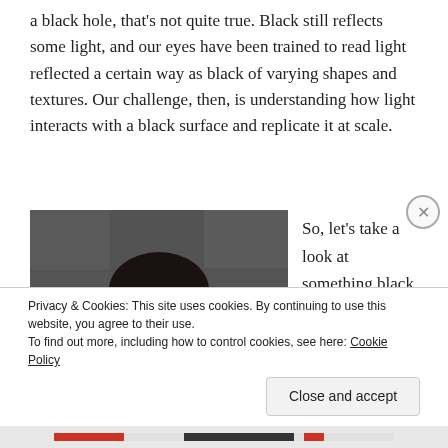a black hole, that's not quite true. Black still reflects some light, and our eyes have been trained to read light reflected a certain way as black of varying shapes and textures. Our challenge, then, is understanding how light interacts with a black surface and replicate it at scale.
[Figure (photo): A person with dark hair pulled back, wearing dark round sunglasses, photographed against a stone/dark background. Appears to be a movie still.]
So, let's take a look at something black and shiny, such as Carrie-
Privacy & Cookies: This site uses cookies. By continuing to use this website, you agree to their use.
To find out more, including how to control cookies, see here: Cookie Policy
Close and accept